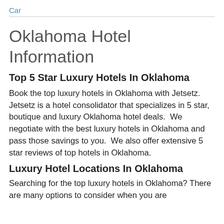Car
Oklahoma Hotel Information
Top 5 Star Luxury Hotels In Oklahoma
Book the top luxury hotels in Oklahoma with Jetsetz. Jetsetz is a hotel consolidator that specializes in 5 star, boutique and luxury Oklahoma hotel deals.  We negotiate with the best luxury hotels in Oklahoma and pass those savings to you.  We also offer extensive 5 star reviews of top hotels in Oklahoma.
Luxury Hotel Locations In Oklahoma
Searching for the top luxury hotels in Oklahoma? There are many options to consider when you are